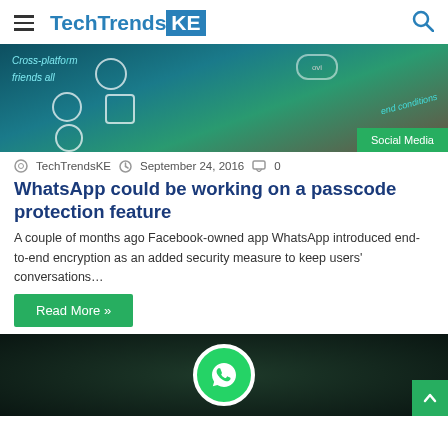TechTrendsKE
[Figure (screenshot): Smartphone screen showing cross-platform app with icons and terms/conditions text, with a Social Media badge overlay]
TechTrendsKE  September 24, 2016  0
WhatsApp could be working on a passcode protection feature
A couple of months ago Facebook-owned app WhatsApp introduced end-to-end encryption as an added security measure to keep users' conversations…
Read More »
[Figure (logo): WhatsApp logo — green circle with white phone handset icon on dark background]